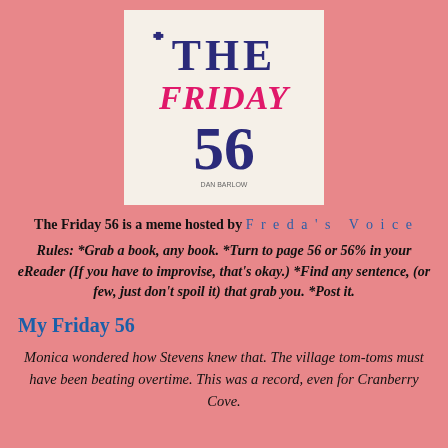[Figure (logo): The Friday 56 logo showing stylized text 'THE FRIDAY 56' in dark blue and pink on a light cream background]
The Friday 56 is a meme hosted by Freda's Voice
Rules: *Grab a book, any book. *Turn to page 56 or 56% in your eReader (If you have to improvise, that's okay.) *Find any sentence, (or few, just don't spoil it) that grab you. *Post it.
My Friday 56
Monica wondered how Stevens knew that. The village tom-toms must have been beating overtime. This was a record, even for Cranberry Cove.